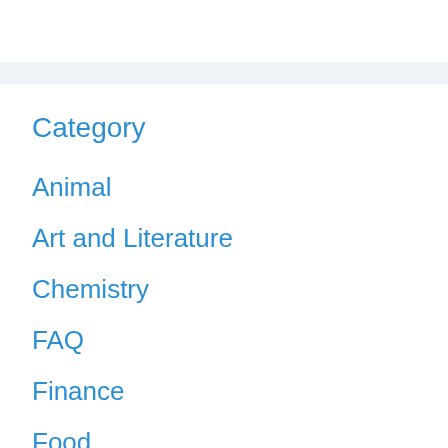Category
Animal
Art and Literature
Chemistry
FAQ
Finance
Food
Geography
Health
History